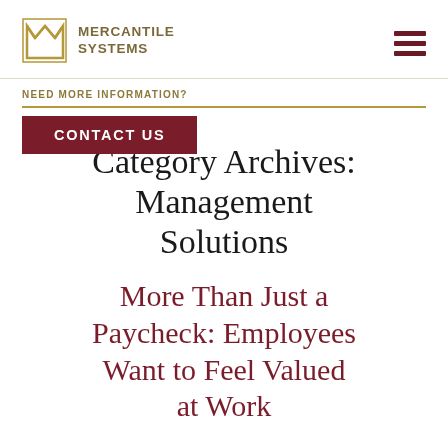Mercantile Systems
NEED MORE INFORMATION?
CONTACT US
Category Archives: Management Solutions
More Than Just a Paycheck: Employees Want to Feel Valued at Work